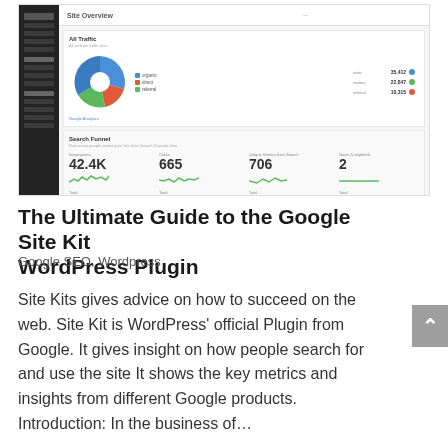[Figure (screenshot): Screenshot of Google Site Kit WordPress plugin dashboard showing Site Overview with a pie chart of All Traffic, legend with session sources (Direct, Organic, Referral), and Search Funnel stats: Impressions 42.4K, Clicks 665, Unique Visitors from Search 706, Goals Completed 2]
The Ultimate Guide to the Google Site Kit WordPress Plugin
Google SEO, Wordpress
Site Kits gives advice on how to succeed on the web. Site Kit is WordPress' official Plugin from Google. It gives insight on how people search for and use the site It shows the key metrics and insights from different Google products. Introduction: In the business of...